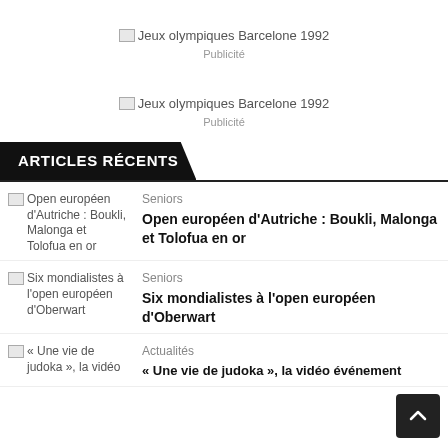[Figure (other): Broken image placeholder for 'Jeux olympiques Barcelone 1992']
Publicité
[Figure (other): Broken image placeholder for 'Jeux olympiques Barcelone 1992']
Publicité
ARTICLES RÉCENTS
[Figure (other): Broken image placeholder for article thumbnail: Open européen d'Autriche : Boukli, Malonga et Tolofua en or]
Seniors
Open européen d'Autriche : Boukli, Malonga et Tolofua en or
[Figure (other): Broken image placeholder for article thumbnail: Six mondialistes à l'open européen d'Oberwart]
Seniors
Six mondialistes à l'open européen d'Oberwart
[Figure (other): Broken image placeholder for article thumbnail: « Une vie de judoka », la vidéo événement]
Actualités
« Une vie de judoka », la vidéo événement